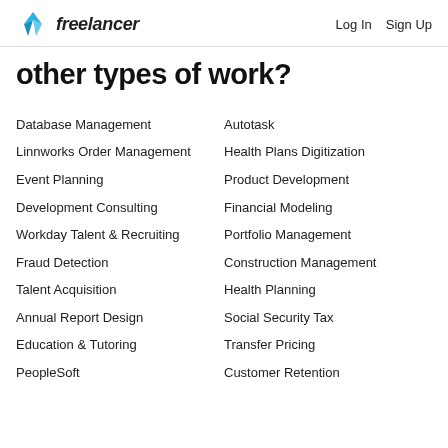freelancer  Log In  Sign Up
other types of work?
Database Management
Linnworks Order Management
Event Planning
Development Consulting
Workday Talent & Recruiting
Fraud Detection
Talent Acquisition
Annual Report Design
Education & Tutoring
PeopleSoft
Autotask
Health Plans Digitization
Product Development
Financial Modeling
Portfolio Management
Construction Management
Health Planning
Social Security Tax
Transfer Pricing
Customer Retention